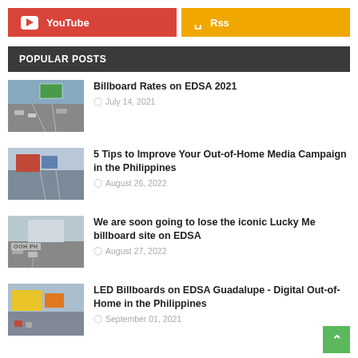[Figure (other): YouTube button (red background with white play icon and text 'YouTube')]
[Figure (other): RSS button (golden/yellow background with RSS icon and text 'Rss')]
POPULAR POSTS
[Figure (photo): Aerial view of EDSA highway with billboards]
Billboard Rates on EDSA 2021
July 14, 2021
[Figure (photo): Highway with out-of-home media billboards]
5 Tips to Improve Your Out-of-Home Media Campaign in the Philippines
August 26, 2022
[Figure (photo): EDSA billboard with OOH PH watermark]
We are soon going to lose the iconic Lucky Me billboard site on EDSA
August 27, 2022
[Figure (photo): LED Billboards on EDSA Guadalupe street view]
LED Billboards on EDSA Guadalupe - Digital Out-of-Home in the Philippines
September 01, 2021